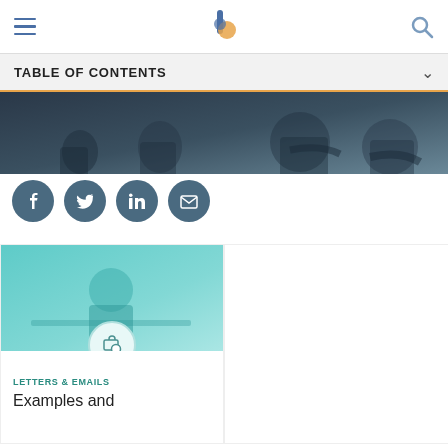TABLE OF CONTENTS
[Figure (photo): Hero band: people in an office/classroom setting, dark tinted]
[Figure (infographic): Social sharing icons row: Facebook, Twitter, LinkedIn, Email]
[Figure (photo): Left card: woman in teal shirt at desk with job search icon overlay. Category: LETTERS & EMAILS. Title: Examples and]
[Figure (photo): Right card: people shaking hands at office meeting table, with job search icon overlay and Ad label]